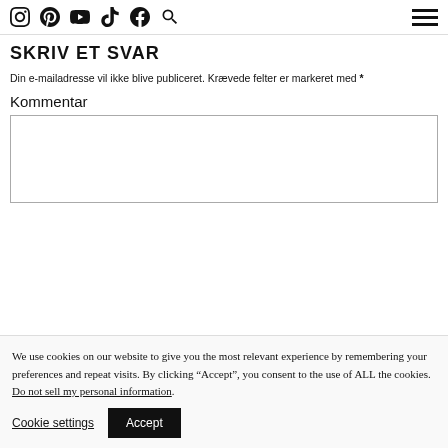Social media icons: Instagram, Pinterest, YouTube, TikTok, Facebook, Search; Hamburger menu
SKRIV ET SVAR
Din e-mailadresse vil ikke blive publiceret. Krævede felter er markeret med *
Kommentar
We use cookies on our website to give you the most relevant experience by remembering your preferences and repeat visits. By clicking “Accept”, you consent to the use of ALL the cookies. Do not sell my personal information.
Cookie settings   Accept